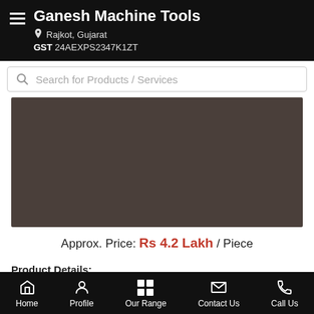Ganesh Machine Tools
Rajkot, Gujarat
GST 24AEXPS2347K1ZT
Search for Products / Services
[Figure (photo): Product image area - dark brownish-gray rectangle showing a machine tool product]
Approx. Price: Rs 4.2 Lakh / Piece
Product Details:
Bed Length: 7 Feet
Height of Centre: 300 mm
Home | Profile | Our Range | Contact Us | Call Us